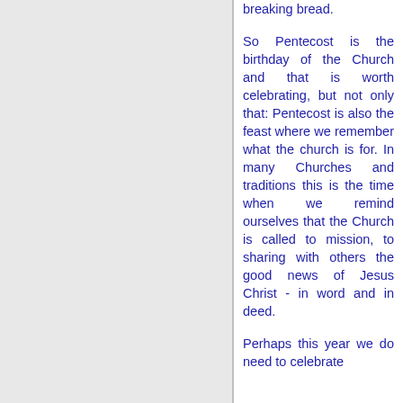breaking bread.

So Pentecost is the birthday of the Church and that is worth celebrating, but not only that: Pentecost is also the feast where we remember what the church is for. In many Churches and traditions this is the time when we remind ourselves that the Church is called to mission, to sharing with others the good news of Jesus Christ - in word and in deed.

Perhaps this year we do need to celebrate